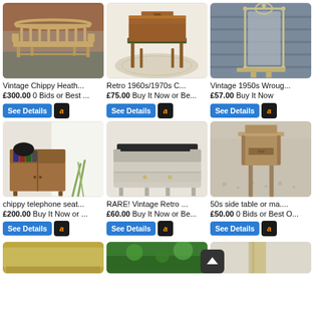[Figure (photo): Vintage wooden spindle bench/settee on stone paving outdoors]
Vintage Chippy Heath...
£300.00 0 Bids or Best ...
[Figure (photo): Retro 1960s/1970s writing desk with green upholstered seat on patterned rug]
Retro 1960s/1970s C...
£75.00 Buy It Now or Be...
[Figure (photo): Vintage 1950s wrought iron ornate mirror mounted on grey wooden wall outdoors]
Vintage 1950s Wroug...
£57.00 Buy It Now
[Figure (photo): Chippy telephone seat/cabinet unit in teak with storage compartments]
chippy telephone seat...
£200.00 Buy It Now or ...
[Figure (photo): RARE vintage retro painted grey sideboard/cabinet with brass knobs]
RARE! Vintage Retro ...
£60.00 Buy It Now or Be...
[Figure (photo): 50s side table/nightstand with upper shelf in garden setting]
50s side table or ma....
£50.00 0 Bids or Best O...
[Figure (photo): Partial view of gold/metallic cushioned seat or footstool]
[Figure (photo): Partial view of garden scene with green foliage]
[Figure (photo): Partial view of light-colored furniture piece]